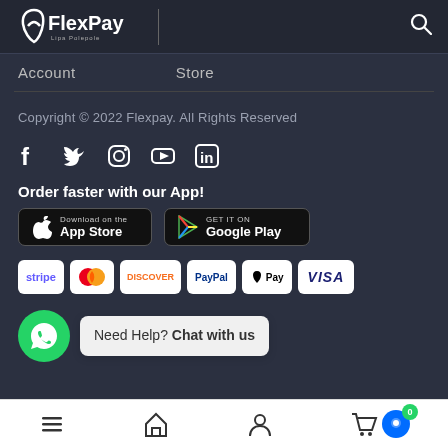[Figure (logo): FlexPay logo with stylized F and text 'FlexPay' with tagline 'Lipa Polepole']
Account
Store
Copyright © 2022 Flexpay. All Rights Reserved
[Figure (infographic): Social media icons: Facebook, Twitter, Instagram, YouTube, LinkedIn]
Order faster with our App!
[Figure (infographic): Download on the App Store and GET IT ON Google Play buttons]
[Figure (infographic): Payment method badges: stripe, mastercard, DISCOVER, PayPal, Apple Pay, VISA]
Need Help? Chat with us
[Figure (infographic): Bottom navigation bar with menu, home, user, cart (0), and live chat icons]